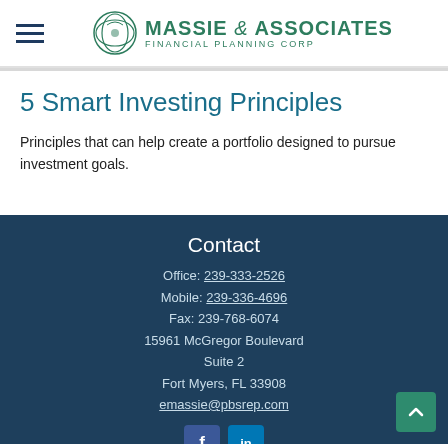Massie & Associates Financial Planning Corp
5 Smart Investing Principles
Principles that can help create a portfolio designed to pursue investment goals.
Contact
Office: 239-333-2526
Mobile: 239-336-4696
Fax: 239-768-6074
15961 McGregor Boulevard
Suite 2
Fort Myers, FL 33908
emassie@pbsrep.com